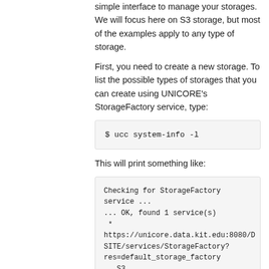simple interface to manage your storages. We will focus here on S3 storage, but most of the examples apply to any type of storage.
First, you need to create a new storage. To list the possible types of storages that you can create using UNICORE's StorageFactory service, type:
$ ucc system-info -l
This will print something like:
Checking for StorageFactory service ...
... OK, found 1 service(s)
 *
https://unicore.data.kit.edu:8080/DSITE/services/StorageFactory?res=default_storage_factory
   S3
      User-settable parameters:
         - accessKey: access key
         - secretKey: secret key
         - provider: JClouds provider to use
         - endpoint: S3 endpoint to access